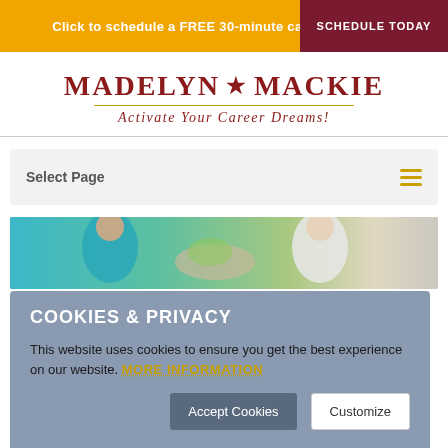Click to schedule a FREE 30-minute career activation
[Figure (logo): Madelyn Mackie logo with red star and tagline 'Activate Your Career Dreams!']
Select Page
[Figure (photo): People shaking hands, networking photo]
COOKIES & PRIVACY
This website uses cookies to ensure you get the best experience on our website. MORE INFORMATION
Accept Cookies   Customize